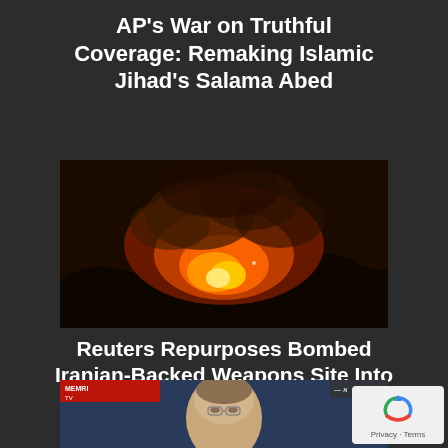AP's War on Truthful Coverage: Remaking Islamic Jihad's Salama Abed
[Figure (photo): Nighttime photo showing a large fire with bright orange and red flames and smoke against a dark sky, over a dark hillside silhouette.]
Reuters Repurposes Bombed Iranian-Backed Weapons Site Into Syrian Towns
[Figure (screenshot): Bottom portion of a MEMRI TV screenshot showing a man (appears to be an older male with glasses) in front of a blue background. MEMRI TV logo visible in top left corner.]
[Figure (logo): reCAPTCHA badge with spinning arrow logo and 'Privacy - Terms' text on light background.]